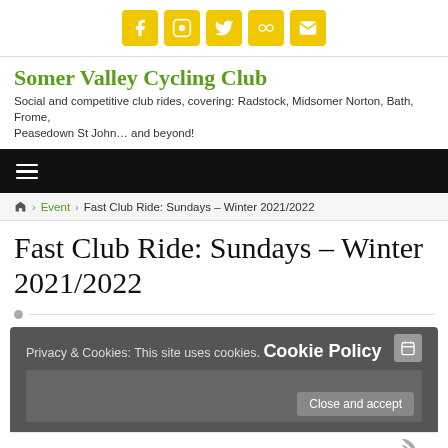[Figure (other): Social media icons row: Facebook, Instagram, Twitter, Flickr, Email on yellow/gold square buttons]
Somer Valley Cycling Club
Social and competitive club rides, covering: Radstock, Midsomer Norton, Bath, Frome, Peasedown St John… and beyond!
[Figure (other): Black navigation bar with hamburger menu icon]
🏠 > Event > Fast Club Ride: Sundays – Winter 2021/2022
Fast Club Ride: Sundays – Winter 2021/2022
Privacy & Cookies: This site uses cookies. Cookie Policy
Close and accept